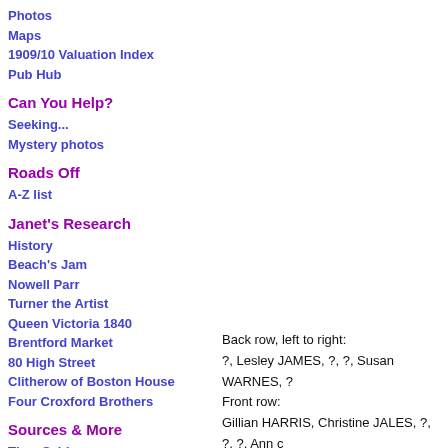Photos
Maps
1909/10 Valuation Index
Pub Hub
Can You Help?
Seeking...
Mystery photos
Roads Off
A-Z list
Janet's Research
History
Beach's Jam
Nowell Parr
Turner the Artist
Queen Victoria 1840
Brentford Market
80 High Street
Clitherow of Boston House
Four Croxford Brothers
Sources & More
They Said
Books etc.
Web Links
Back row, left to right:
?, Lesley JAMES, ?, ?, Susan WARNES, ?
Front row:
Gillian HARRIS, Christine JALES, ?, ?, ?, Ann c
Please get in touch if you can add any more n
Published July 2010; last updated February 20